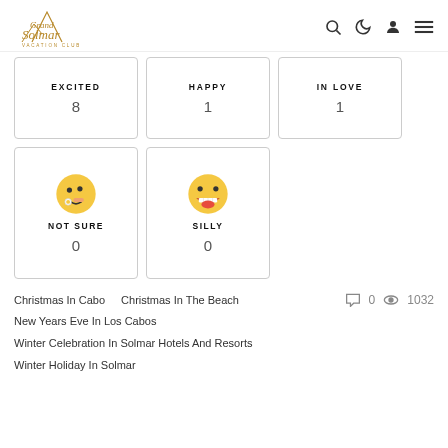Grand Solmar Vacation Club
| Emotion | Count |
| --- | --- |
| EXCITED | 8 |
| HAPPY | 1 |
| IN LOVE | 1 |
| NOT SURE | 0 |
| SILLY | 0 |
Christmas In Cabo
Christmas In The Beach
New Years Eve In Los Cabos
Winter Celebration In Solmar Hotels And Resorts
Winter Holiday In Solmar